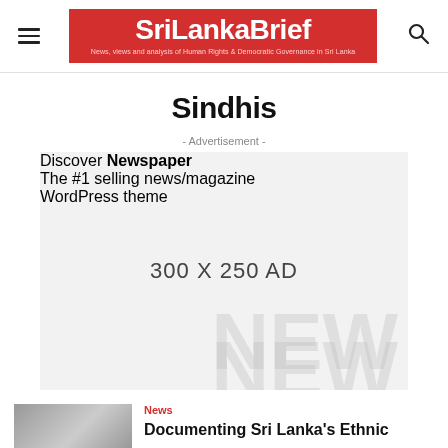SriLankaBrief — News, views and analysis of Human Rights & Democratic Governance in Sri Lanka
Sindhis
- Advertisement -
[Figure (other): Advertisement placeholder box with 'Discover Newspaper — The #1 selling news/magazine WordPress theme' text and '300 X 250 AD' label, light grey background with watermark 'NEW' text]
News
Documenting Sri Lanka's Ethnic